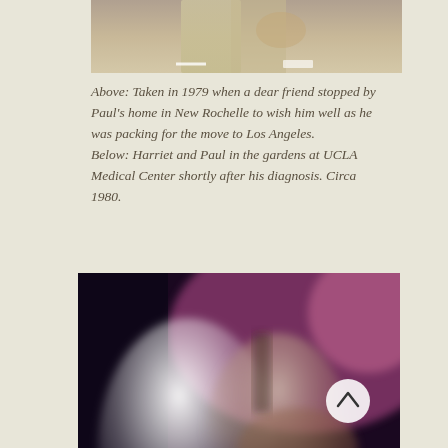[Figure (photo): Top portion of a photograph showing a person, cropped — only the lower body visible, set against a warm outdoor background. Circa 1979.]
Above: Taken in 1979 when a dear friend stopped by Paul's home in New Rochelle to wish him well as he was packing for the move to Los Angeles.
Below: Harriet and Paul in the gardens at UCLA Medical Center shortly after his diagnosis. Circa 1980.
[Figure (photo): Blurred photograph of two people (Harriet and Paul) in the gardens at UCLA Medical Center, circa 1980. A circular back-to-top navigation button overlays the lower right of the image.]